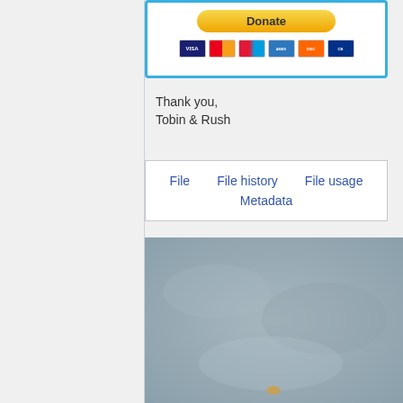[Figure (screenshot): Donate button with PayPal and payment card icons (Visa, Mastercard, Maestro, Amex, Discover, CB)]
Thank you,
Tobin & Rush
File   File history   File usage
Metadata
[Figure (photo): Blurry grey/blue outdoor photograph, possibly sky or water, with a small object visible near the bottom center]